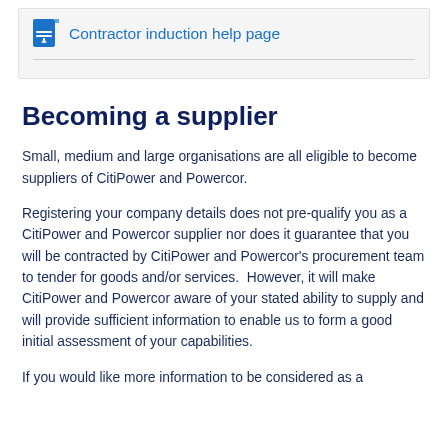[Figure (other): Document icon with blue download arrow, followed by link text 'Contractor induction help page' in a light grey bordered box]
Becoming a supplier
Small, medium and large organisations are all eligible to become suppliers of CitiPower and Powercor.
Registering your company details does not pre-qualify you as a CitiPower and Powercor supplier nor does it guarantee that you will be contracted by CitiPower and Powercor's procurement team to tender for goods and/or services. However, it will make CitiPower and Powercor aware of your stated ability to supply and will provide sufficient information to enable us to form a good initial assessment of your capabilities.
If you would like more information to be considered as a